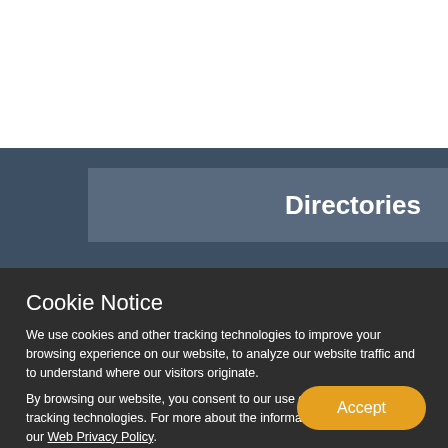Directories
Resourc
Cookie Notice
We use cookies and other tracking technologies to improve your browsing experience on our website, to analyze our website traffic and to understand where our visitors originate.
By browsing our website, you consent to our use of cookies and other tracking technologies. For more about the information SIU collects, visit our Web Privacy Policy.